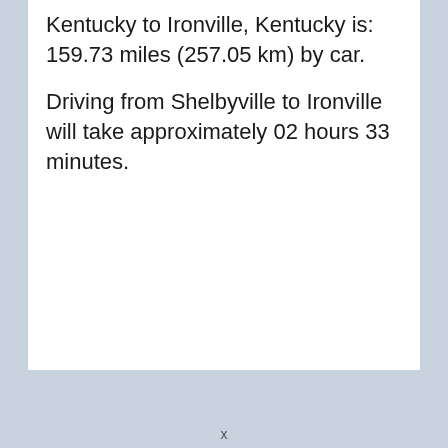Kentucky to Ironville, Kentucky is: 159.73 miles (257.05 km) by car.
Driving from Shelbyville to Ironville will take approximately 02 hours 33 minutes.